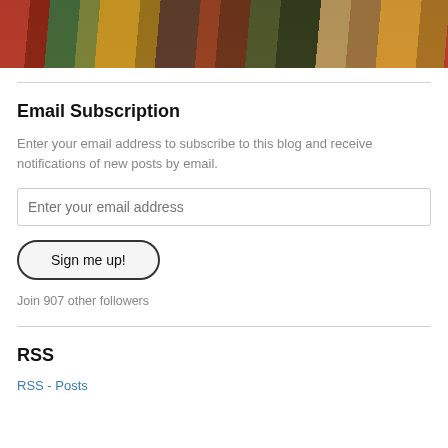[Figure (photo): Cropped bottom portion of a photograph showing a group of people in colorful traditional clothing, partially visible from mid-body down.]
Email Subscription
Enter your email address to subscribe to this blog and receive notifications of new posts by email.
Enter your email address
Sign me up!
Join 907 other followers
RSS
RSS - Posts